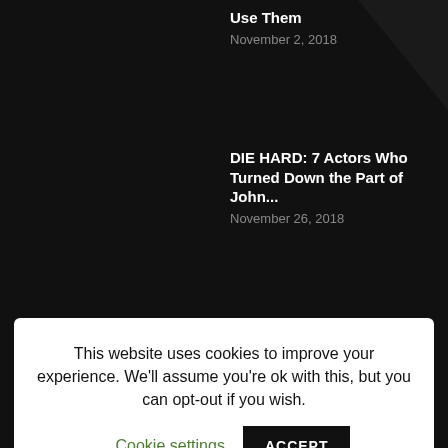Use Them
November 2, 2018
DIE HARD: 7 Actors Who Turned Down the Part of John...
November 26, 2018
This website uses cookies to improve your experience. We'll assume you're ok with this, but you can opt-out if you wish. Cookie settings ACCEPT
Content Marketing 9
Deadly Content 8
Bitcoin 8
Entertainment 8
Homepage Samples 3